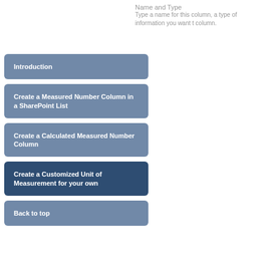Name and Type
Type a name for this column, a type of information you want t column.
Introduction
Create a Measured Number Column in a SharePoint List
Create a Calculated Measured Number Column
Create a Customized Unit of Measurement for your own
Back to top